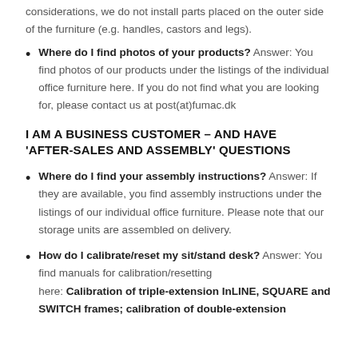considerations, we do not install parts placed on the outer side of the furniture (e.g. handles, castors and legs).
Where do I find photos of your products? Answer: You find photos of our products under the listings of the individual office furniture here. If you do not find what you are looking for, please contact us at post(at)fumac.dk
I AM A BUSINESS CUSTOMER – AND HAVE 'AFTER-SALES AND ASSEMBLY' QUESTIONS
Where do I find your assembly instructions? Answer: If they are available, you find assembly instructions under the listings of our individual office furniture. Please note that our storage units are assembled on delivery.
How do I calibrate/reset my sit/stand desk? Answer: You find manuals for calibration/resetting here: Calibration of triple-extension InLINE, SQUARE and SWITCH frames; calibration of double-extension